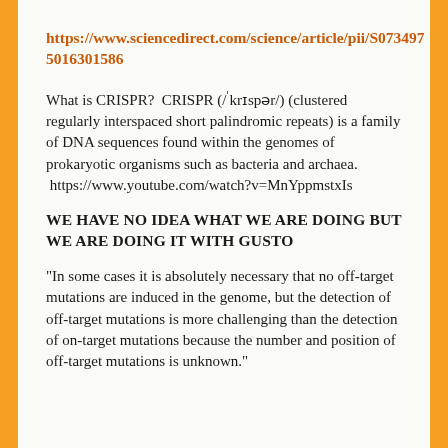https://www.sciencedirect.com/science/article/pii/S07349750 16301586
What is CRISPR?  CRISPR (/ˈkrɪspər/) (clustered regularly interspaced short palindromic repeats) is a family of DNA sequences found within the genomes of prokaryotic organisms such as bacteria and archaea.  https://www.youtube.com/watch?v=MnYppmstxIs
WE HAVE NO IDEA WHAT WE ARE DOING BUT WE ARE DOING IT WITH GUSTO
“In some cases it is absolutely necessary that no off-target mutations are induced in the genome, but the detection of off-target mutations is more challenging than the detection of on-target mutations because the number and position of off-target mutations is unknown.”